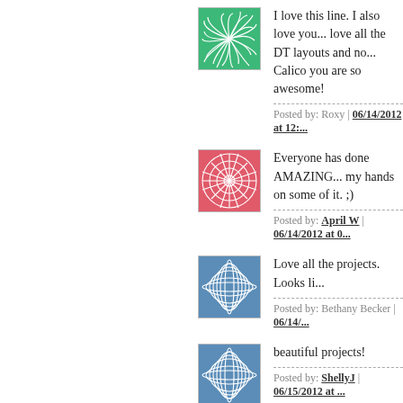[Figure (illustration): Green spiral pattern avatar icon]
I love this line. I also love you... love all the DT layouts and no... Calico you are so awesome!
Posted by: Roxy | 06/14/2012 at 12:...
[Figure (illustration): Red flower pattern avatar icon]
Everyone has done AMAZING... my hands on some of it. ;)
Posted by: April W | 06/14/2012 at 0...
[Figure (illustration): Blue sphere/globe pattern avatar icon]
Love all the projects. Looks li...
Posted by: Bethany Becker | 06/14/...
[Figure (illustration): Blue sphere/globe pattern avatar icon (similar to previous)]
beautiful projects!
Posted by: ShellyJ | 06/15/2012 at ...
The comments to this entry are closed.